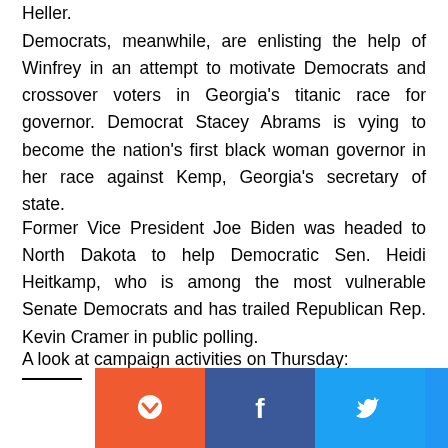Heller.
Democrats, meanwhile, are enlisting the help of Winfrey in an attempt to motivate Democrats and crossover voters in Georgia's titanic race for governor. Democrat Stacey Abrams is vying to become the nation's first black woman governor in her race against Kemp, Georgia's secretary of state.
Former Vice President Joe Biden was headed to North Dakota to help Democratic Sen. Heidi Heitkamp, who is among the most vulnerable Senate Democrats and has trailed Republican Rep. Kevin Cramer in public polling.
A look at campaign activities on Thursday:
[Figure (other): Social media share bar with icons for Pocket, Facebook, Twitter, Telegram, WhatsApp, Reddit, Email, and Share]